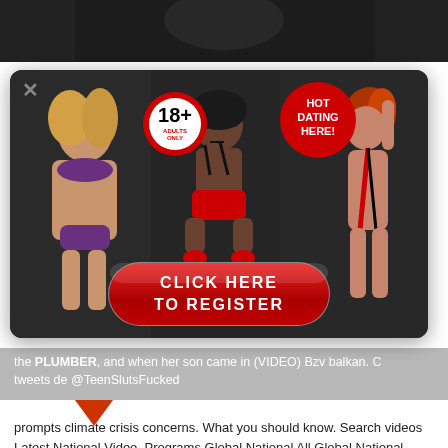[Figure (photo): Dark top image strip showing partial photo]
[Figure (screenshot): Adult dating popup advertisement with three models, 18+ badge, 'HOT DATING HERE!' badge and a red 'CLICK HERE TO REGISTER' button]
the PLUMBER, and when her son came in (VIDEO) Bzv balkan. C tweets de @TeenSlutsFucked
[Figure (illustration): Red downward-pointing triangle/arrow]
prompts climate crisis concerns. What you should know. Search videos Latest National Video. Programs Global National All Global National video. For under Use 16. 8 All